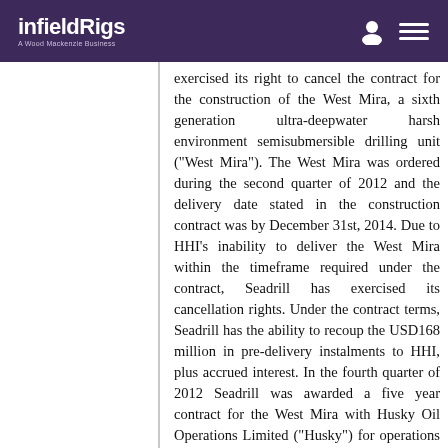infieldRigs — A Wood Mackenzie Business
exercised its right to cancel the contract for the construction of the West Mira, a sixth generation ultra-deepwater harsh environment semisubmersible drilling unit ("West Mira"). The West Mira was ordered during the second quarter of 2012 and the delivery date stated in the construction contract was by December 31st, 2014. Due to HHI's inability to deliver the West Mira within the timeframe required under the contract, Seadrill has exercised its cancellation rights. Under the contract terms, Seadrill has the ability to recoup the USD168 million in pre-delivery instalments to HHI, plus accrued interest. In the fourth quarter of 2012 Seadrill was awarded a five year contract for the West Mira with Husky Oil Operations Limited ("Husky") for operations in Canada and Greenland. As stated in Seadrill's second quarter earnings report, due to the late delivery of the West Mira, Seadrill had tentatively agreed with Husky to reduce the dayrate of the drilling contract. Seadrill remains in discussions